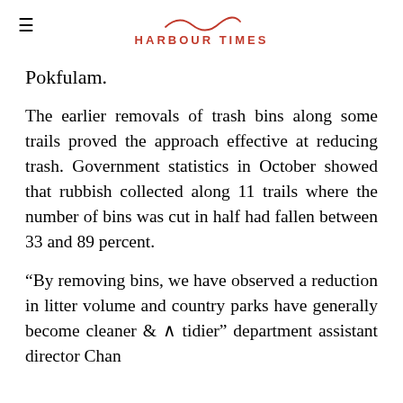HARBOUR TIMES
Pokfulam.
The earlier removals of trash bins along some trails proved the approach effective at reducing trash. Government statistics in October showed that rubbish collected along 11 trails where the number of bins was cut in half had fallen between 33 and 89 percent.
“By removing bins, we have observed a reduction in litter volume and country parks have generally become cleaner and tidier” department assistant director Chan